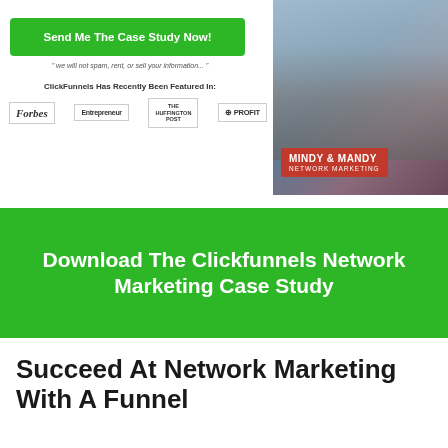[Figure (screenshot): Top banner with green 'Send Me The Case Study Now!' button, spam disclaimer, ClickFunnels featured-in section with Forbes, Entrepreneur, Huffington Post, and The Profit logos on left; Mindy & Mandy Network Marketing photo on right with red badge]
[Figure (infographic): Green banner with white text: 'Download The Clickfunnels Network Marketing Case Study']
Succeed At Network Marketing With A Funnel
In this video tutorial, Russel Brunson demonstrates how to build and grow your network marketing (MLM) business online using sales funnels, a secret strategy, and Clickfunnels.
He mentions several strategies from his